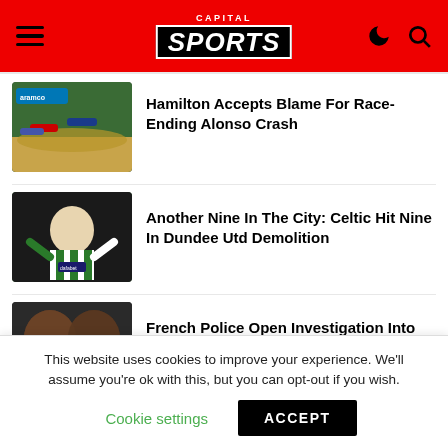CAPITAL SPORTS
[Figure (photo): Formula 1 race cars on track with aramco branding visible]
Hamilton Accepts Blame For Race-Ending Alonso Crash
[Figure (photo): Celtic player in green and white striped jersey celebrating with arms raised]
Another Nine In The City: Celtic Hit Nine In Dundee Utd Demolition
[Figure (photo): Close-up of two men's faces]
French Police Open Investigation Into
This website uses cookies to improve your experience. We'll assume you're ok with this, but you can opt-out if you wish.
Cookie settings    ACCEPT